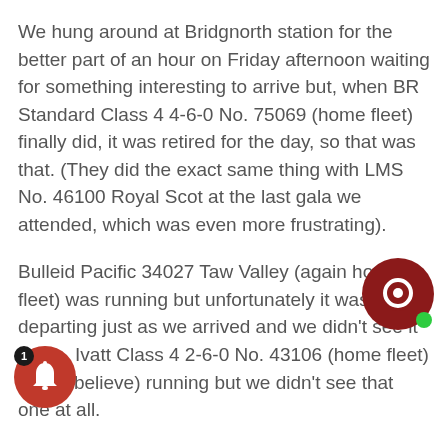We hung around at Bridgnorth station for the better part of an hour on Friday afternoon waiting for something interesting to arrive but, when BR Standard Class 4 4-6-0 No. 75069 (home fleet) finally did, it was retired for the day, so that was that. (They did the exact same thing with LMS No. 46100 Royal Scot at the last gala we attended, which was even more frustrating).
Bulleid Pacific 34027 Taw Valley (again home fleet) was running but unfortunately it was departing just as we arrived and we didn't see it again. Ivatt Class 4 2-6-0 No. 43106 (home fleet) was (I believe) running but we didn't see that one at all.
At Kidderminster, all we saw was a trio of 0-6-0 tank engines ~ nice enough for what they are, but hardly gala fare.